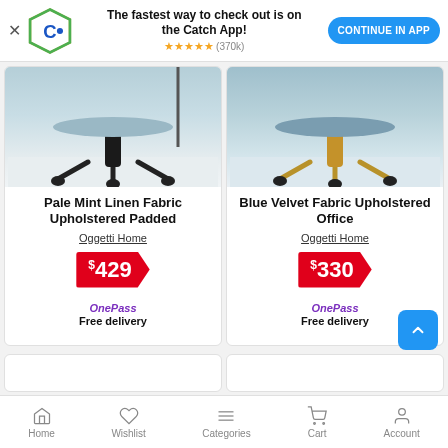The fastest way to check out is on the Catch App! ★★★★★ (370k) CONTINUE IN APP
[Figure (photo): Pale mint/light blue upholstered office chair, lower half showing black star-base with casters on white floor]
Pale Mint Linen Fabric Upholstered Padded
Oggetti Home
$429
OnePass Free delivery
[Figure (photo): Blue velvet upholstered office chair, lower half showing gold star-base with casters on white floor]
Blue Velvet Fabric Upholstered Office
Oggetti Home
$330
OnePass Free delivery
Home  Wishlist  Categories  Cart  Account